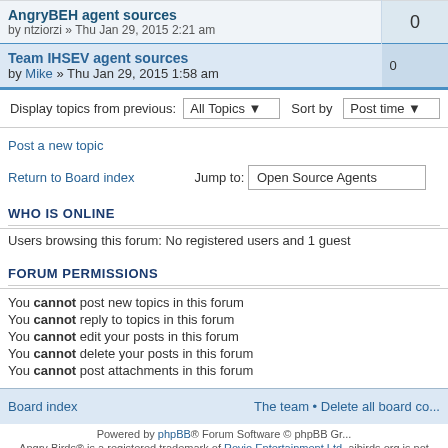| Topic | Replies |
| --- | --- |
| AngryBEH agent sources
by ntziorzi » Thu Jan 29, 2015 2:21 am | 0 |
| Team IHSEV agent sources
by Mike » Thu Jan 29, 2015 1:58 am | 0 |
Display topics from previous: All Topics   Sort by Post time
Post a new topic
Return to Board index   Jump to: Open Source Agents
WHO IS ONLINE
Users browsing this forum: No registered users and 1 guest
FORUM PERMISSIONS
You cannot post new topics in this forum
You cannot reply to topics in this forum
You cannot edit your posts in this forum
You cannot delete your posts in this forum
You cannot post attachments in this forum
Board index   The team • Delete all board co...
Powered by phpBB® Forum Software © phpBB Gr...
Angry Birds® is a registered trademark of Rovio Entertainment Ltd. aibirds.org is not...